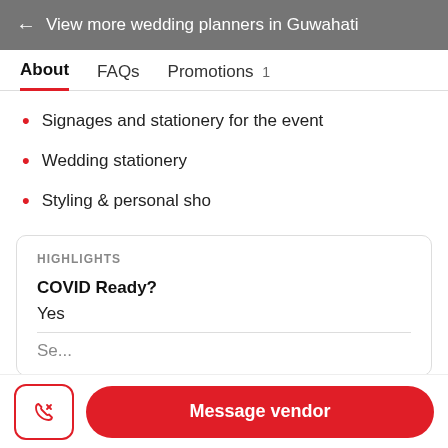← View more wedding planners in Guwahati
About   FAQs   Promotions 1
Signages and stationery for the event
Wedding stationery
Styling & personal sho
HIGHLIGHTS
COVID Ready?
Yes
Message vendor